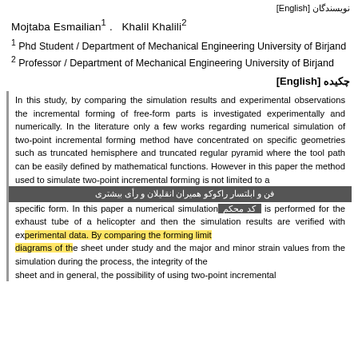نویسندگان [English]
Mojtaba Esmailian 1 .   Khalil Khalili 2
1 Phd Student / Department of Mechanical Engineering University of Birjand
2 Professor / Department of Mechanical Engineering University of Birjand
چکیده [English]
In this study, by comparing the simulation results and experimental observations the incremental forming of free-form parts is investigated experimentally and numerically. In the literature only a few works regarding numerical simulation of two-point incremental forming method have concentrated on specific geometries such as truncated hemisphere and truncated regular pyramid where the tool path can be easily defined by mathematical functions. However in this paper the method used to simulate two-point incremental forming is not limited to a specific form. In this paper a numerical simulation is performed for the exhaust tube of a helicopter and then the simulation results are verified with experimental data. By comparing the forming limit diagrams of the sheet under study and the major and minor strain values from the simulation during the process the integrity of the sheet and in general the possibility of using two-point incremental